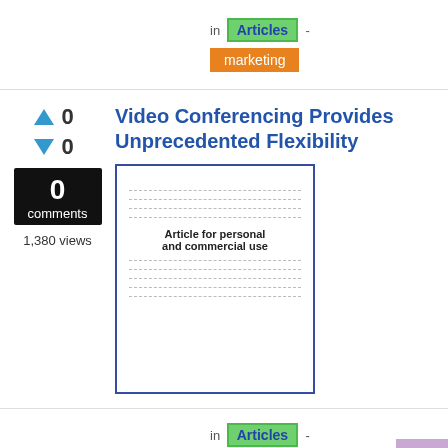in Articles - marketing
Video Conferencing Provides Unprecedented Flexibility
[Figure (illustration): Article preview thumbnail showing dashed lines and text 'Article for personal and commercial use']
0 comments
1,380 views
in Articles - business